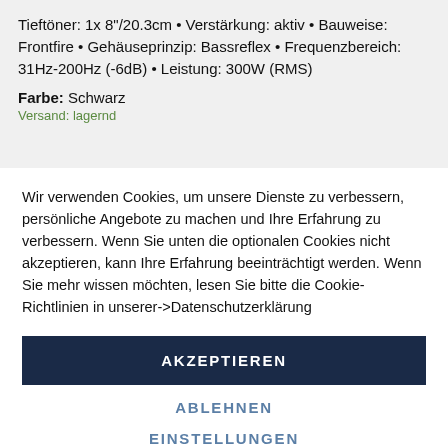Tieftöner: 1x 8"/20.3cm • Verstärkung: aktiv • Bauweise: Frontfire • Gehäuseprinzip: Bassreflex • Frequenzbereich: 31Hz-200Hz (-6dB) • Leistung: 300W (RMS)
Farbe: Schwarz
Versand: lagernd
Wir verwenden Cookies, um unsere Dienste zu verbessern, persönliche Angebote zu machen und Ihre Erfahrung zu verbessern. Wenn Sie unten die optionalen Cookies nicht akzeptieren, kann Ihre Erfahrung beeinträchtigt werden. Wenn Sie mehr wissen möchten, lesen Sie bitte die Cookie-Richtlinien in unserer->Datenschutzerklärung
AKZEPTIEREN
ABLEHNEN
EINSTELLUNGEN